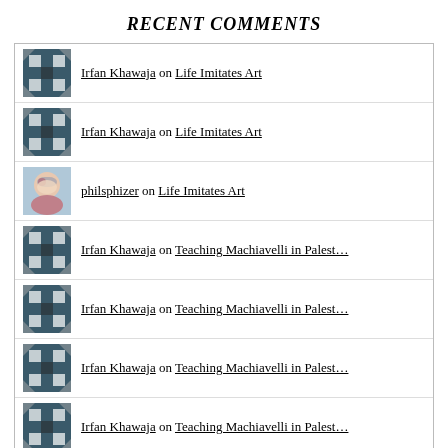RECENT COMMENTS
Irfan Khawaja on Life Imitates Art
Irfan Khawaja on Life Imitates Art
philsphizer on Life Imitates Art
Irfan Khawaja on Teaching Machiavelli in Palest…
Irfan Khawaja on Teaching Machiavelli in Palest…
Irfan Khawaja on Teaching Machiavelli in Palest…
Irfan Khawaja on Teaching Machiavelli in Palest…